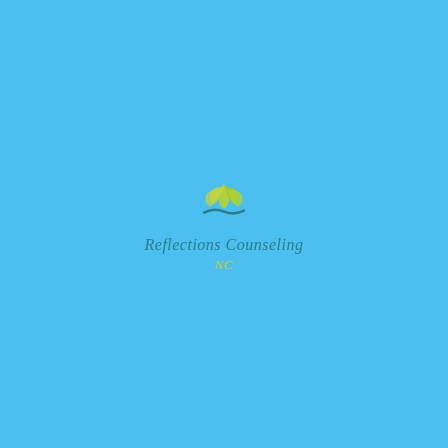[Figure (logo): Reflections Counseling NC logo on sky blue background. Features a stylized green/yellow leaf/hand graphic above a teal wave, with cursive teal text 'Reflections Counseling' and yellow-green italic 'NC' below.]